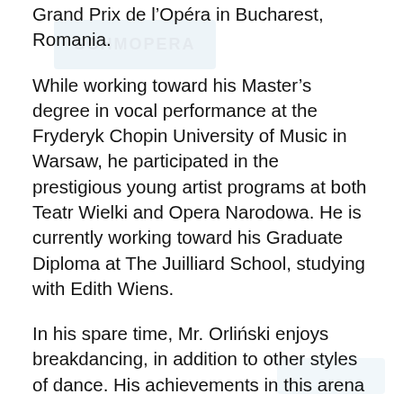Grand Prix de l'Opéra in Bucharest, Romania.
While working toward his Master's degree in vocal performance at the Fryderyk Chopin University of Music in Warsaw, he participated in the prestigious young artist programs at both Teatr Wielki and Opera Narodowa. He is currently working toward his Graduate Diploma at The Juilliard School, studying with Edith Wiens.
In his spare time, Mr. Orliński enjoys breakdancing, in addition to other styles of dance. His achievements in this arena include prizes in many dance competitions: 4th place at the Red Bull BC One Poland Cypher competition, 2nd place on the Stylish Strike – Top Rock Contest and 2nd place at The Style Control competition, among others. He has also been featured in a commercial for the street wear company CROPP, as well as featured as a